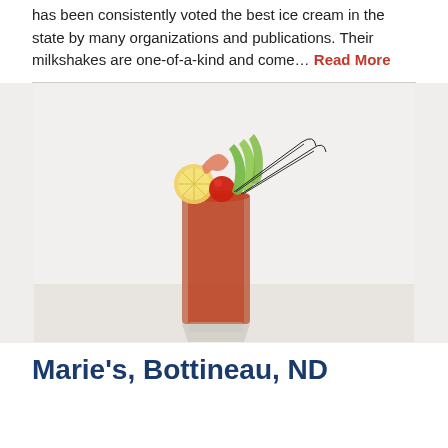has been consistently voted the best ice cream in the state by many organizations and publications. Their milkshakes are one-of-a-kind and come… Read More
[Figure (photo): A Bloody Mary cocktail in a tall glass, garnished with a lemon slice, cherry tomato, celery, shrimp, and two black bent straws, on a white wooden surface.]
Marie's, Bottineau, ND